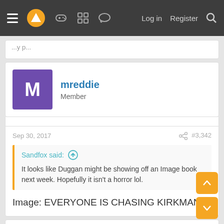Navigation bar with menu, logo, game controller, grid, chat icons, Log in, Register, Search
...y p...
mreddie
Member
Sep 30, 2017   #3,342
Sandfox said: ↑
It looks like Duggan might be showing off an Image book next week. Hopefully it isn't a horror lol.
Image: EVERYONE IS CHASING KIRKMAN
Freezasaurus
Member